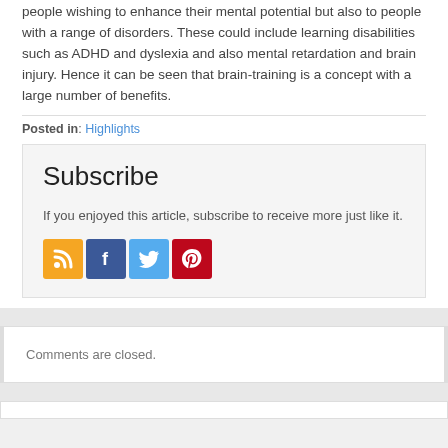people wishing to enhance their mental potential but also to people with a range of disorders. These could include learning disabilities such as ADHD and dyslexia and also mental retardation and brain injury. Hence it can be seen that brain-training is a concept with a large number of benefits.
Posted in: Highlights
Subscribe
If you enjoyed this article, subscribe to receive more just like it.
[Figure (infographic): Social media subscription icons: RSS (orange), Facebook (blue), Twitter (light blue), Pinterest (red)]
Comments are closed.